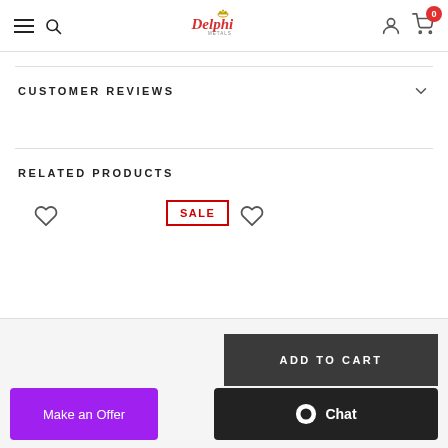Delphi Metals — navigation header with hamburger menu, search, logo, account icon, cart (0)
CUSTOMER REVIEWS
RELATED PRODUCTS
[Figure (other): Heart (wishlist) icon for first related product]
[Figure (other): SALE badge for second related product]
[Figure (other): Heart (wishlist) icon for second related product]
[Figure (other): ADD TO CART button]
[Figure (other): Make an Offer button (purple)]
[Figure (other): Chat button (dark)]